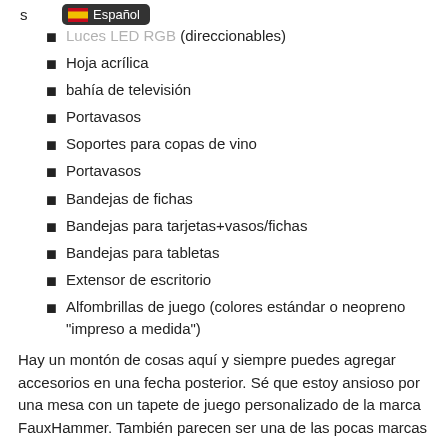Luces LED RGB (direccionables)
Hoja acrílica
bahía de televisión
Portavasos
Soportes para copas de vino
Portavasos
Bandejas de fichas
Bandejas para tarjetas+vasos/fichas
Bandejas para tabletas
Extensor de escritorio
Alfombrillas de juego (colores estándar o neopreno "impreso a medida")
Hay un montón de cosas aquí y siempre puedes agregar accesorios en una fecha posterior. Sé que estoy ansioso por una mesa con un tapete de juego personalizado de la marca FauxHammer. También parecen ser una de las pocas marcas